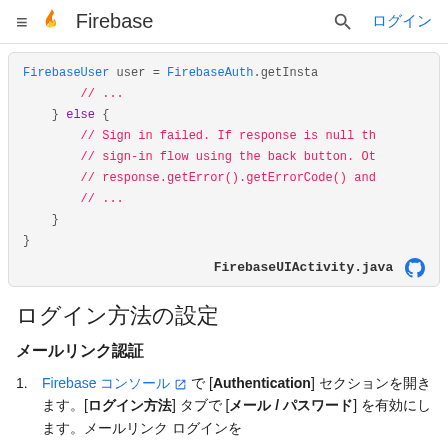≡ Firebase  🔍 ログイン
[Figure (screenshot): Code block showing Java snippet: FirebaseUser user = FirebaseAuth.getInsta... // ... } else { // Sign in failed. If response is null th // sign-in flow using the back button. Ot // response.getError().getErrorCode() and // ... } } with file link FirebaseUIActivity.java]
ログイン方法の設定
メールリンク認証
Firebase コンソール で [Authentication] セクションを開きます。[ログイン方法] タブで [メール / パスワード] を有効にします。メールリンク ログインを